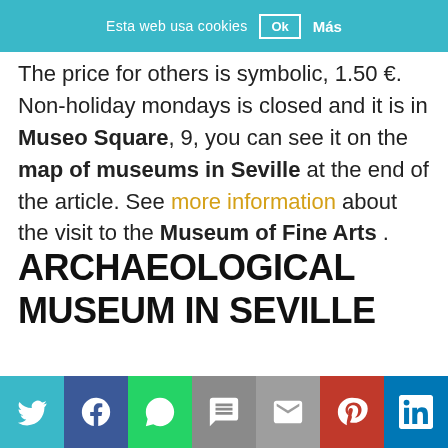Esta web usa cookies  Ok  Más
The price for others is symbolic, 1.50 €. Non-holiday mondays is closed and it is in Museo Square, 9, you can see it on the map of museums in Seville at the end of the article. See more information about the visit to the Museum of Fine Arts .
ARCHAEOLOGICAL MUSEUM IN SEVILLE
Twitter Facebook WhatsApp SMS Email Pinterest LinkedIn